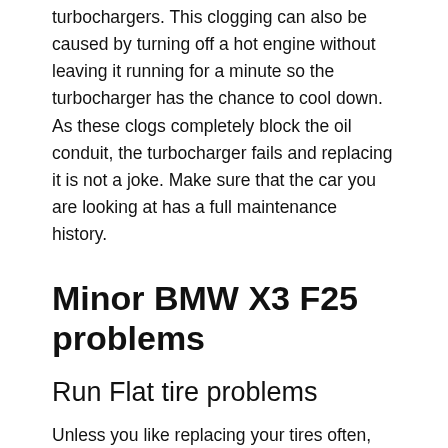turbochargers. This clogging can also be caused by turning off a hot engine without leaving it running for a minute so the turbocharger has the chance to cool down. As these clogs completely block the oil conduit, the turbocharger fails and replacing it is not a joke. Make sure that the car you are looking at has a full maintenance history.
Minor BMW X3 F25 problems
Run Flat tire problems
Unless you like replacing your tires often, avoid